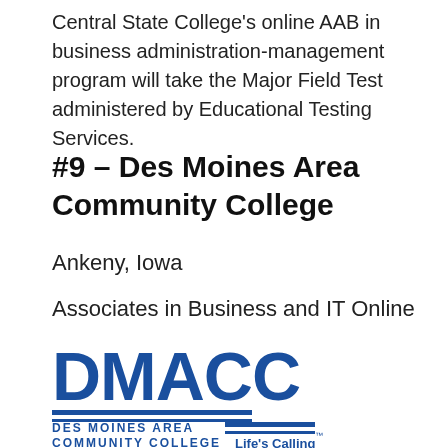Central State College's online AAB in business administration-management program will take the Major Field Test administered by Educational Testing Services.
#9 – Des Moines Area Community College
Ankeny, Iowa
Associates in Business and IT Online
[Figure (logo): DMACC – Des Moines Area Community College logo with 'Life's Calling' tagline]